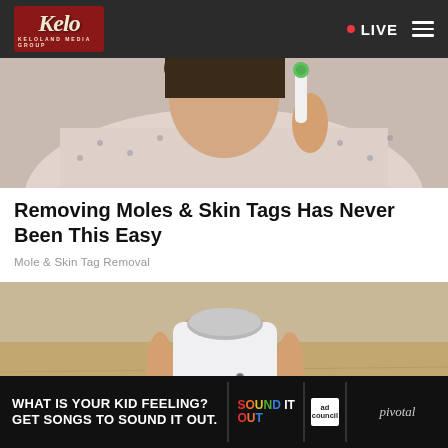KELOLAND MEDIA GROUP — LIVE
[Figure (photo): Person holding a small device near their face/neck area, wearing a patterned shirt]
Removing Moles & Skin Tags Has Never Been This Easy
Mole & Skin Tag Removal
[Figure (photo): Close-up of a hand holding a white bulb-shaped device, possibly a mole/skin tag removal tool]
[Figure (photo): Advertisement banner: WHAT IS YOUR KID FEELING? GET SONGS TO SOUND IT OUT. — Sound It Out / Ad Council / Pivotal]